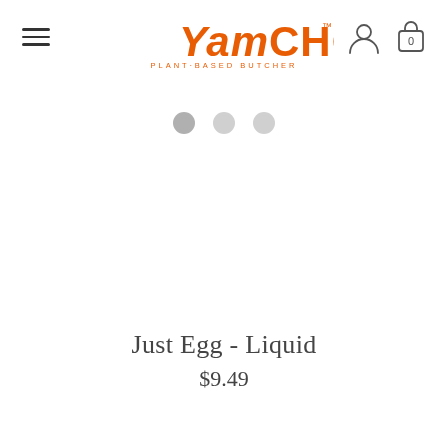[Figure (logo): YamChops Plant-Based Butcher logo in orange, with italic 'Yam' and bold 'CHOPS' text, subtitle 'PLANT-BASED BUTCHER']
[Figure (illustration): Three grey dots/circles representing a loading or pagination indicator]
Just Egg - Liquid
$9.49